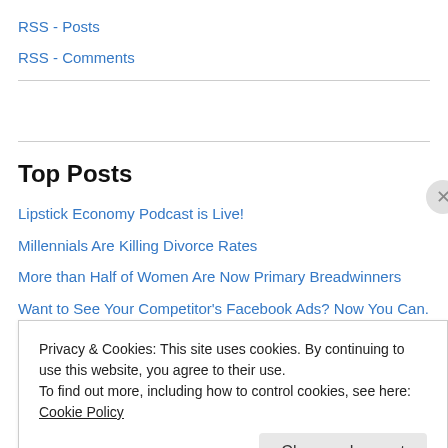RSS - Posts
RSS - Comments
Top Posts
Lipstick Economy Podcast is Live!
Millennials Are Killing Divorce Rates
More than Half of Women Are Now Primary Breadwinners
Want to See Your Competitor's Facebook Ads? Now You Can.
Women Make 80% of All Travel Decisions
Privacy & Cookies: This site uses cookies. By continuing to use this website, you agree to their use. To find out more, including how to control cookies, see here: Cookie Policy
Close and accept